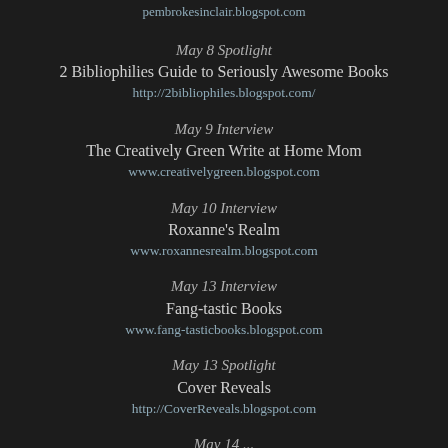pembrokesinclair.blogspot.com
May 8 Spotlight
2 Bibliophilies Guide to Seriously Awesome Books
http://2bibliophiles.blogspot.com/
May 9 Interview
The Creatively Green Write at Home Mom
www.creativelygreen.blogspot.com
May 10 Interview
Roxanne's Realm
www.roxannesrealm.blogspot.com
May 13 Interview
Fang-tastic Books
www.fang-tasticbooks.blogspot.com
May 13 Spotlight
Cover Reveals
http://CoverReveals.blogspot.com
May 14 ...